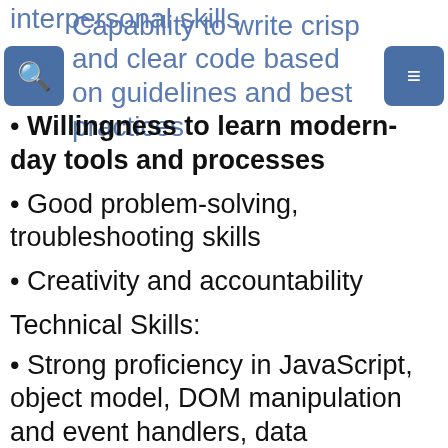interpersonal skills
Capability to write crisp and clear code based on guidelines and best practices
Willingness to learn modern-day tools and processes
Good problem-solving, troubleshooting skills
Creativity and accountability
Technical Skills:
Strong proficiency in JavaScript, object model, DOM manipulation and event handlers, data structures, algorithms, JSX, and Babel
Complete understanding of ReactJS and its main fundamentals like JSX, Virtual DOM, component lifecycle, etc.
Preceding experience with ReactJS workflows like Flux, Redux, Create React